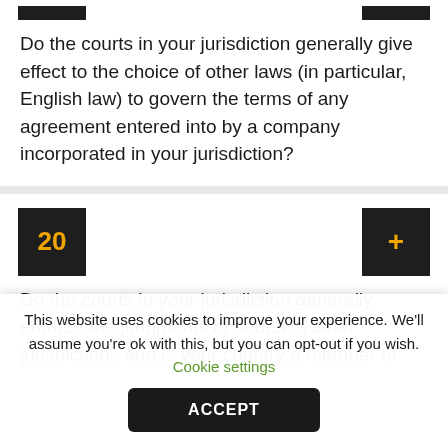Do the courts in your jurisdiction generally give effect to the choice of other laws (in particular, English law) to govern the terms of any agreement entered into by a company incorporated in your jurisdiction?
20
Do the courts in your jurisdiction generally enforce the judgments of courts in other jurisdictions and is your country a member of
This website uses cookies to improve your experience. We'll assume you're ok with this, but you can opt-out if you wish. Cookie settings
ACCEPT